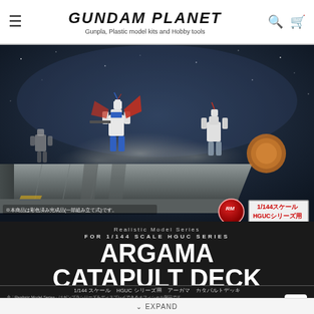GUNDAM PLANET — Gunpla, Plastic model kits and Hobby tools
[Figure (photo): Product box art showing Gundam mobile suits (including Zeta Gundam and Gundam Mk-II) displayed on the Argama Catapult Deck diorama set, against a dark space background. The deck platform is a large grey catapult launch deck. An RM (Realistic Model Series) logo badge is visible along with a 1/144 scale / HGUC series badge.]
Realistic Model Series FOR 1/144 SCALE HGUC SERIES ARGAMA CATAPULT DECK
1/144 スケール HGUC シリーズ用 アーガマ カタパルトデッキ
※「Realistic Model Series」はガンプラシリーズをディスプレイできるオフィシャル製品です。 ※本商品に「HGUC 1/144 MSZ-006 ゼータガンダム」「HGUC 1/144 機動戦士Zガンダム ガンダムMk-II (エゥーゴ仕様)」「HGUC 1/144 RMS-099 リック・ディアス クワトロ・バジーナカラー」は含まれません。 ※画像はCGイメージです。 © 創通・サンライズ
∨ EXPAND